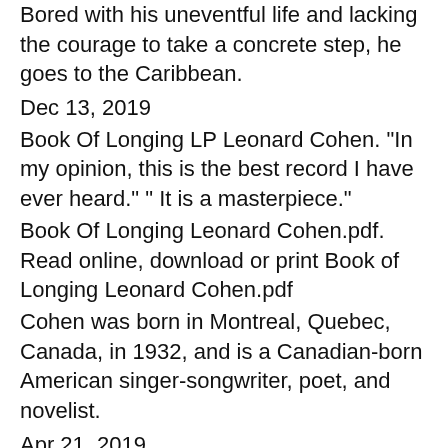Bored with his uneventful life and lacking the courage to take a concrete step, he goes to the Caribbean.
Dec 13, 2019
Book Of Longing LP Leonard Cohen. "In my opinion, this is the best record I have ever heard." " It is a masterpiece."
Book Of Longing Leonard Cohen.pdf. Read online, download or print Book of Longing Leonard Cohen.pdf
Cohen was born in Montreal, Quebec, Canada, in 1932, and is a Canadian-born American singer-songwriter, poet, and novelist.
Apr 21, 2019
The Book Of Longing by Leonard Cohen. Leonard Cohen, born September 21, 1934, is an award-winning Canadian singer-songwriter, poet, and novelist. He began writing poetry in his teens, and all but abandoned his attempts to make a living as a musician until 1973. He was a